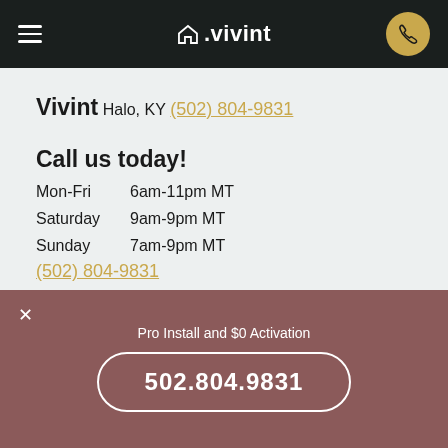vivint — navigation bar with logo and phone button
Vivint
Halo, KY
(502) 804-9831
Call us today!
| Day | Hours |
| --- | --- |
| Mon-Fri | 6am-11pm MT |
| Saturday | 9am-9pm MT |
| Sunday | 7am-9pm MT |
(502) 804-9831
Pro Install and $0 Activation
502.804.9831